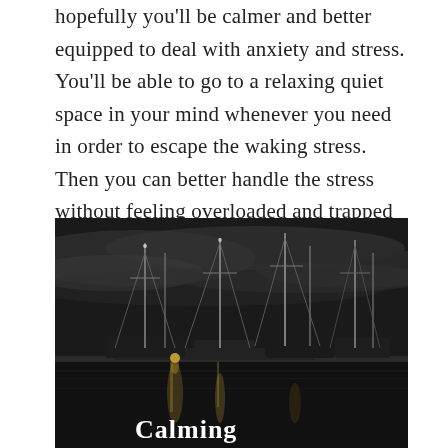hopefully you'll be calmer and better equipped to deal with anxiety and stress. You'll be able to go to a relaxing quiet space in your mind whenever you need in order to escape the waking stress. Then you can better handle the stress without feeling overloaded and trapped by it.
[Figure (photo): Black and white photograph of sailboats moored at a marina at night, with masts silhouetted against a cloudy sky. Text overlay reads 'Calming' at the bottom of the image.]